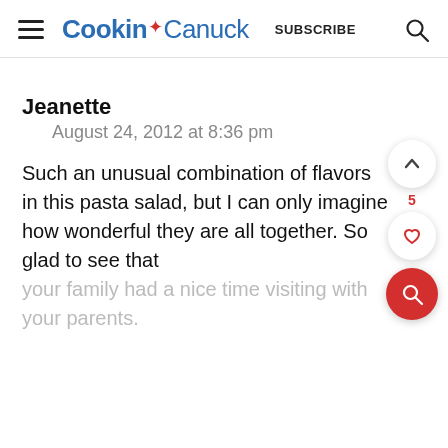Cookin' Canuck   SUBSCRIBE
Jeanette
August 24, 2012 at 8:36 pm
Such an unusual combination of flavors in this pasta salad, but I can only imagine how wonderful they are all together. So glad to see that your family had a nice time visiting with your parents.